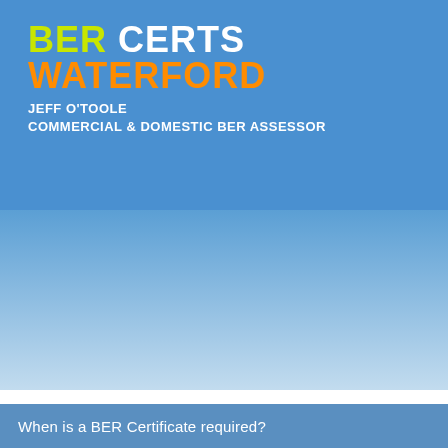BER CERTS WATERFORD
JEFF O'TOOLE
COMMERCIAL & DOMESTIC BER ASSESSOR
[Figure (illustration): Blue gradient background area, transitioning from medium blue at top to light blue-white at bottom]
When is a BER Certificate required?